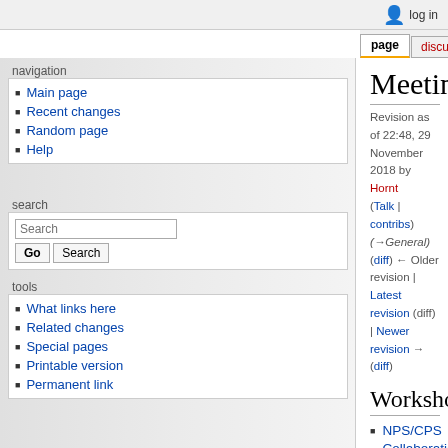log in
page | discussion | view source | history
Meetings
Revision as of 22:48, 29 November 2018 by Hornt (Talk | contribs) (→General)
(diff) ← Older revision | Latest revision (diff) | Newer revision → (diff)
Workshops
NPS/CPS Collaboration Meeting (JLab, 2/1/19)
NPS Frame and Infrastructure Meeting (JLab, 11/13-11/15 2018)
NPS/CPS Collaboration Meeting (JLab, 1/23/18)
Tech Transfer Workshop (CUA, 1/11-1/12 2018)
High Intensity Photon Sources Workshop (CUA, 2/6-2/7 2017)
NPS Collaboration Meeting (JLab, 1/19/17)
NPS Collaboration Meeting (JLab, 1/21/16)